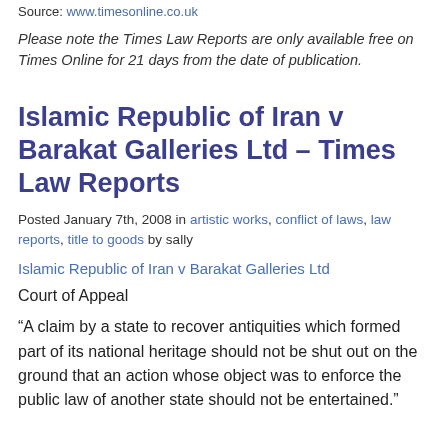Source: www.timesonline.co.uk
Please note the Times Law Reports are only available free on Times Online for 21 days from the date of publication.
Islamic Republic of Iran v Barakat Galleries Ltd – Times Law Reports
Posted January 7th, 2008 in artistic works, conflict of laws, law reports, title to goods by sally
Islamic Republic of Iran v Barakat Galleries Ltd
Court of Appeal
“A claim by a state to recover antiquities which formed part of its national heritage should not be shut out on the ground that an action whose object was to enforce the public law of another state should not be entertained.”